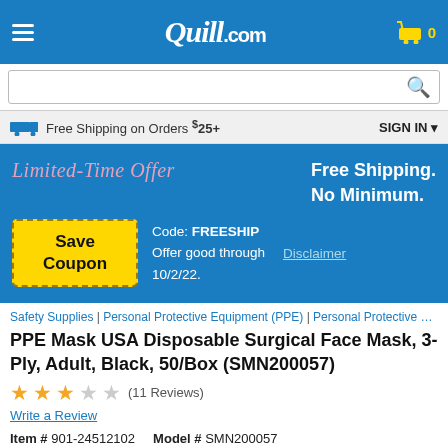Quill.com
Free Shipping on Orders $25+   SIGN IN
[Figure (infographic): Quill.com promotional banner: Limited-Time Offer - Free Shipping. No Minimum. Save Coupon. Code: FREESHIP. Offer good through 10/2/22. Disclaimer.]
Safety Supplies | Personal Protective Equipment (PPE) | Personal Protective Equipm
PPE Mask USA Disposable Surgical Face Mask, 3-Ply, Adult, Black, 50/Box (SMN200057)
★★★☆☆ (11 Reviews)
Write a Review
Item # 901-24512102   Model # SMN200057